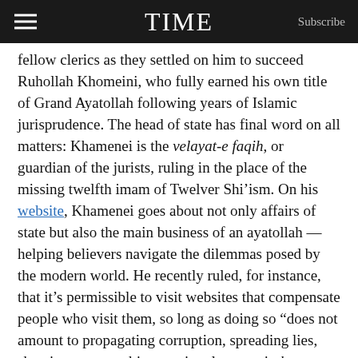TIME  Subscribe
fellow clerics as they settled on him to succeed Ruhollah Khomeini, who fully earned his own title of Grand Ayatollah following years of Islamic jurisprudence. The head of state has final word on all matters: Khamenei is the velayat-e faqih, or guardian of the jurists, ruling in the place of the missing twelfth imam of Twelver Shi’ism. On his website, Khamenei goes about not only affairs of state but also the main business of an ayatollah — helping believers navigate the dilemmas posed by the modern world. He recently ruled, for instance, that it’s permissible to visit websites that compensate people who visit them, so long as doing so “does not amount to propagating corruption, spreading lies, showing wrong subjects or involvement in haram [forbidden] practices.” He also says that if you’ve got to shave your beard, it’s okay to have a barber do it.
Gary G. Sick, who followed Iran at the National Security Council before moving to Columbia University, at one point helped lead a